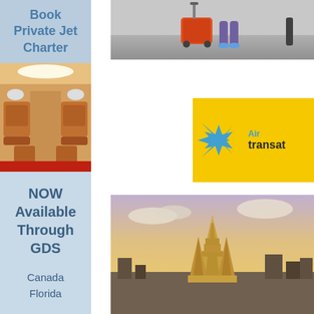Book Private Jet Charter
[Figure (photo): Interior of a private jet showing tan leather seats and luxury cabin]
NOW Available Through GDS
Canada Florida
[Figure (photo): Person pulling orange/red wheeled luggage on airport floor]
[Figure (logo): Air Transat logo on yellow background - blue star shape with 'Air transat' text]
[Figure (photo): Wat Arun temple in Bangkok at sunset with colorful sky]